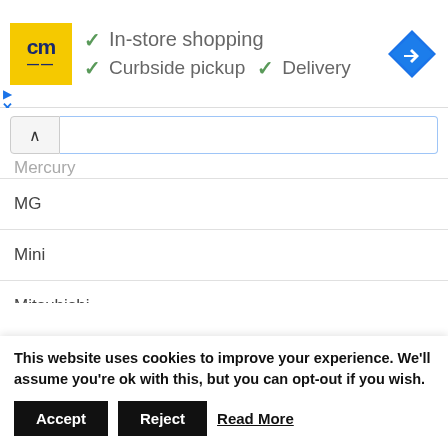[Figure (logo): cm logo in yellow box with blue text, checkmarks for In-store shopping, Curbside pickup, Delivery, and blue navigation diamond icon]
Mercury
MG
Mini
Mitsubishi
Nissan
Oldsmobile
Opel
Peugeot
This website uses cookies to improve your experience. We'll assume you're ok with this, but you can opt-out if you wish.
Accept   Reject   Read More